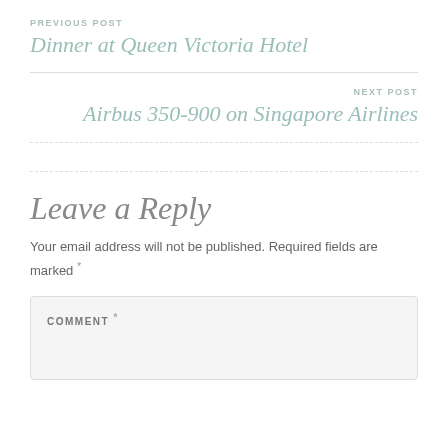PREVIOUS POST
Dinner at Queen Victoria Hotel
NEXT POST
Airbus 350-900 on Singapore Airlines
Leave a Reply
Your email address will not be published. Required fields are marked *
COMMENT *